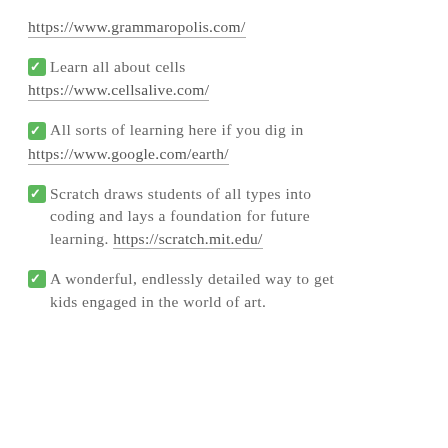https://www.grammaropolis.com/
✅ Learn all about cells
https://www.cellsalive.com/
✅ All sorts of learning here if you dig in
https://www.google.com/earth/
✅ Scratch draws students of all types into coding and lays a foundation for future learning. https://scratch.mit.edu/
✅ A wonderful, endlessly detailed way to get kids engaged in the world of art.